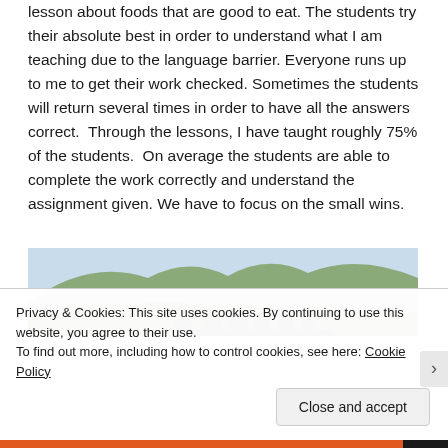lesson about foods that are good to eat. The students try their absolute best in order to understand what I am teaching due to the language barrier. Everyone runs up to me to get their work checked. Sometimes the students will return several times in order to have all the answers correct.  Through the lessons, I have taught roughly 75% of the students.  On average the students are able to complete the work correctly and understand the assignment given. We have to focus on the small wins.
[Figure (photo): Outdoor photo showing people in a mountainous or hilly landscape with vegetation]
Privacy & Cookies: This site uses cookies. By continuing to use this website, you agree to their use.
To find out more, including how to control cookies, see here: Cookie Policy